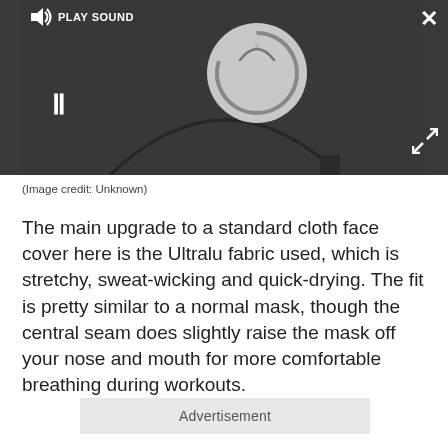[Figure (screenshot): Video/media player overlay on a webpage showing a dark UI with PLAY SOUND button, speaker icon, loading spinner circle, pause (II) button, close X button, and expand arrows. Below the dark overlay is a light gray image area with a partial circular arc visible.]
(Image credit: Unknown)
The main upgrade to a standard cloth face cover here is the Ultralu fabric used, which is stretchy, sweat-wicking and quick-drying. The fit is pretty similar to a normal mask, though the central seam does slightly raise the mask off your nose and mouth for more comfortable breathing during workouts.
Advertisement